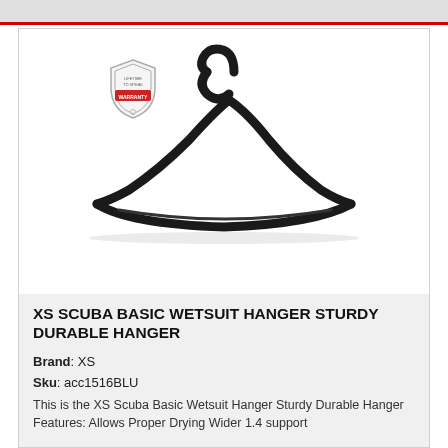[Figure (photo): Black plastic wetsuit hanger with a hook at top, shown against a white background inside a product card. A small circular warranty badge/seal is visible in the upper left area of the image.]
XS SCUBA BASIC WETSUIT HANGER STURDY DURABLE HANGER
Brand: XS
Sku: acc1516BLU
This is the XS Scuba Basic Wetsuit Hanger Sturdy Durable Hanger Features: Allows Proper Drying Wider 1.4 support